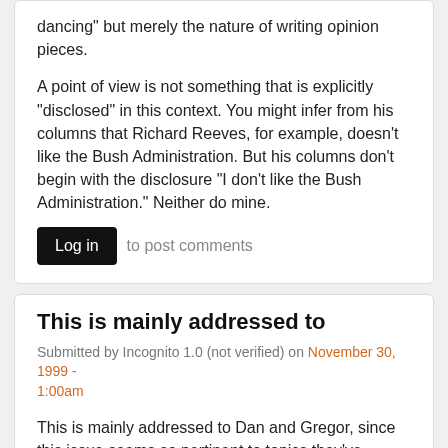dancing" but merely the nature of writing opinion pieces.
A point of view is not something that is explicitly "disclosed" in this context. You might infer from his columns that Richard Reeves, for example, doesn't like the Bush Administration. But his columns don't begin with the disclosure "I don't like the Bush Administration." Neither do mine.
Log in to post comments
This is mainly addressed to
Submitted by Incognito 1.0 (not verified) on November 30, 1999 - 1:00am
This is mainly addressed to Dan and Gregor, since this issue seems so pertinent to topics they've already raised here and in the Herald.
Quick quiz question: What CAN-endorsed candidate (the wunderkind of the "go-go growth" committee, nice characterization Dan) has received $1700 dollars in the past